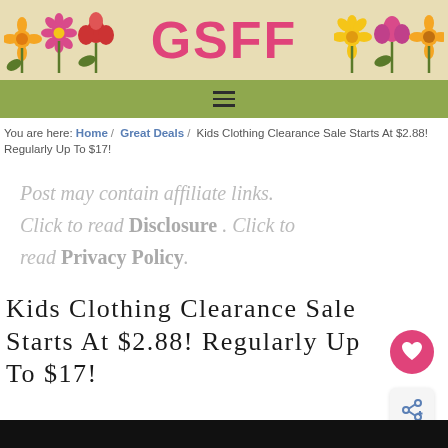GSFF
You are here: Home / Great Deals / Kids Clothing Clearance Sale Starts At $2.88! Regularly Up To $17!
Post may contain affiliate links. Click to read Disclosure . Click to read Privacy Policy.
Kids Clothing Clearance Sale Starts At $2.88! Regularly Up To $17!